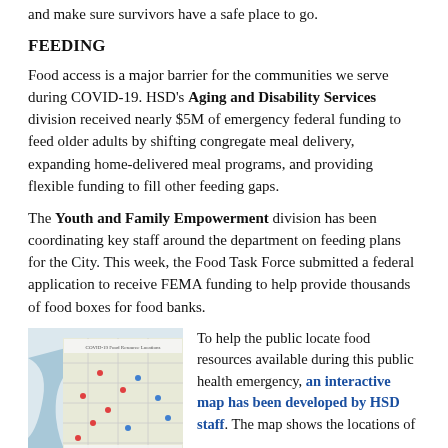and make sure survivors have a safe place to go.
FEEDING
Food access is a major barrier for the communities we serve during COVID-19. HSD's Aging and Disability Services division received nearly $5M of emergency federal funding to feed older adults by shifting congregate meal delivery, expanding home-delivered meal programs, and providing flexible funding to fill other feeding gaps.
The Youth and Family Empowerment division has been coordinating key staff around the department on feeding plans for the City. This week, the Food Task Force submitted a federal application to receive FEMA funding to help provide thousands of food boxes for food banks.
[Figure (map): Interactive map of food resources in Seattle area during COVID-19 public health emergency, developed by HSD staff]
To help the public locate food resources available during this public health emergency, an interactive map has been developed by HSD staff. The map shows the locations of